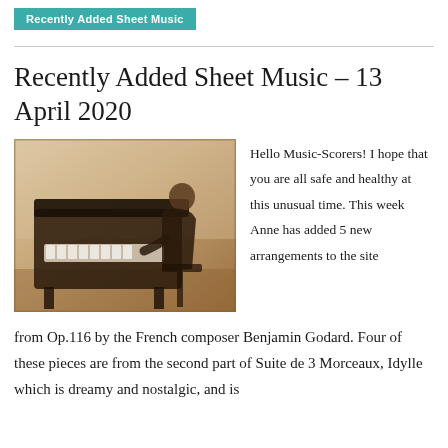Recently Added Sheet Music
Recently Added Sheet Music – 13 April 2020
[Figure (photo): Vintage sepia photograph of a man seated at a piano, playing, dressed in dark formal clothing, viewed from the side.]
Hello Music-Scorers! I hope that you are all safe and healthy at this unusual time. This week Anne has added 5 new arrangements to the site from Op.116 by the French composer Benjamin Godard. Four of these pieces are from the second part of Suite de 3 Morceaux, Idylle which is dreamy and nostalgic, and is